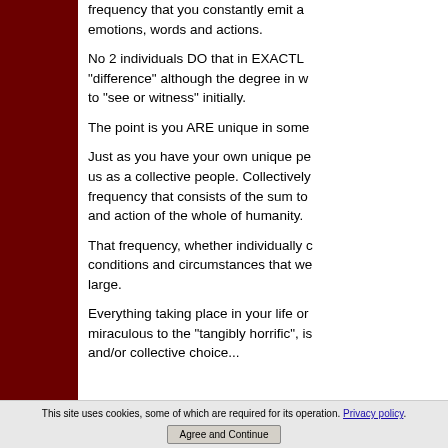frequency that you constantly emit a... emotions, words and actions.
No 2 individuals DO that in EXACTLY... "difference" although the degree in w... to "see or witness" initially.
The point is you ARE unique in some...
Just as you have your own unique pe... us as a collective people. Collectively... frequency that consists of the sum to... and action of the whole of humanity.
That frequency, whether individually c... conditions and circumstances that we... large.
Everything taking place in your life or... miraculous to the "tangibly horrific", is... and/or collective choice...
This site uses cookies, some of which are required for its operation. Privacy policy
Agree and Continue